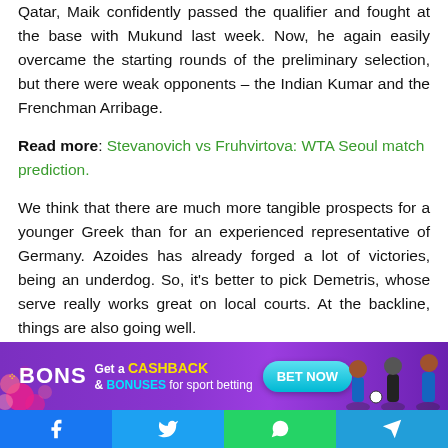Qatar, Maik confidently passed the qualifier and fought at the base with Mukund last week. Now, he again easily overcame the starting rounds of the preliminary selection, but there were weak opponents – the Indian Kumar and the Frenchman Arribage.
Read more: Stevanovich vs Fruhvirtova: WTA Seoul match prediction.
We think that there are much more tangible prospects for a younger Greek than for an experienced representative of Germany. Azoides has already forged a lot of victories, being an underdog. So, it's better to pick Demetris, whose serve really works great on local courts. At the backline, things are also going well.
[Figure (infographic): BONS advertisement banner: Get a CASHBACK & BONUSES for sport betting, with BET NOW button and silhouettes of sports players]
[Figure (infographic): Social media share buttons: Facebook, Twitter, WhatsApp, Telegram]